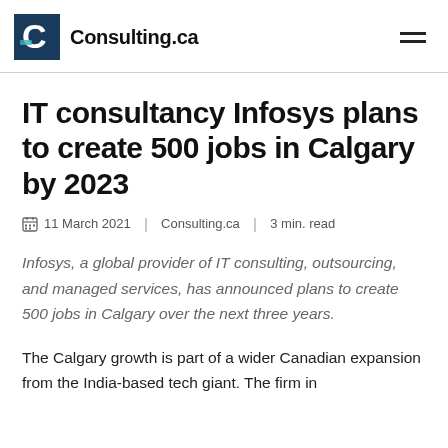Consulting.ca
IT consultancy Infosys plans to create 500 jobs in Calgary by 2023
11 March 2021 | Consulting.ca | 3 min. read
Infosys, a global provider of IT consulting, outsourcing, and managed services, has announced plans to create 500 jobs in Calgary over the next three years.
The Calgary growth is part of a wider Canadian expansion from the India-based tech giant. The firm in